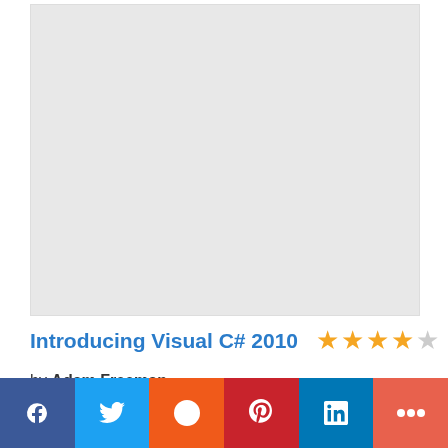[Figure (illustration): Book cover placeholder — light gray rectangle representing the cover of 'Introducing Visual C# 2010']
Introducing Visual C# 2010
by Adam Freeman
[Figure (infographic): Social sharing bar with Facebook, Twitter, Reddit, Pinterest, LinkedIn, and More buttons]